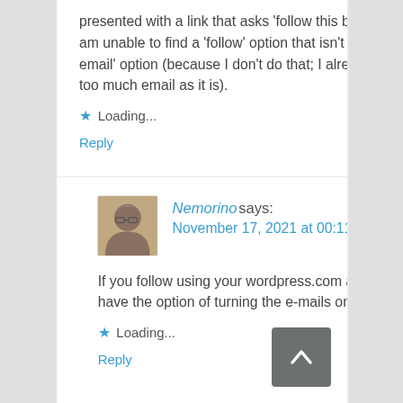presented with a link that asks ‘follow this blog?’, since I am unable to find a ‘follow’ option that isn’t a ‘Follow by email’ option (because I don’t do that; I already get far too much email as it is).
★ Loading...
Reply
Nemorino says:
November 17, 2021 at 00:11
If you follow using your wordpress.com account, you have the option of turning the e-mails on or off.
★ Loading...
Reply